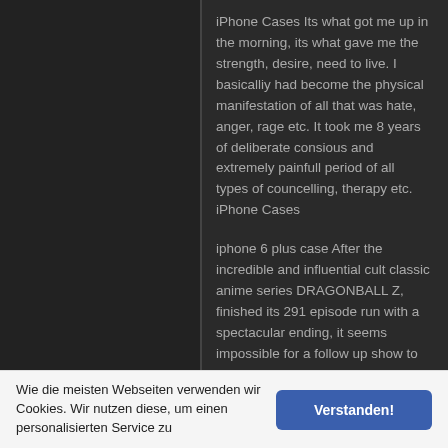iPhone Cases Its what got me up in the morning, its what gave me the strength, desire, need to live. I basicalliy had become the physical manifestation of all that was hate, anger, rage etc. It took me 8 years of deliberate consious and extremely painfull period of all types of councelling, therapy etc. iPhone Cases
iphone 6 plus case After the incredible and influential cult classic anime series DRAGONBALL Z, finished its 291 episode run with a spectacular ending, it seems impossible for a follow up show to match the quality of predecessor. As the third in a trilogy of anime shows that began DRAGONBALL and DRAGONBALL Z, this final entry in the franchise feels like the perfect
Wie die meisten Webseiten verwenden wir Cookies. Wir nutzen diese, um einen personalisierten Service zu
Verstanden!